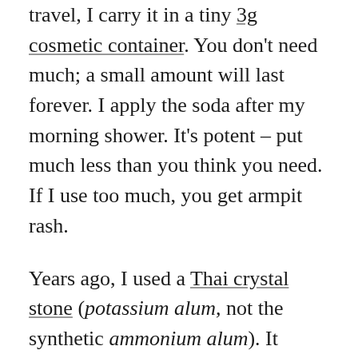travel, I carry it in a tiny 3g cosmetic container. You don't need much; a small amount will last forever. I apply the soda after my morning shower. It's potent – put much less than you think you need. If I use too much, you get armpit rash.
Years ago, I used a Thai crystal stone (potassium alum, not the synthetic ammonium alum). It works, but it's much bulkier. Not suitable at all for No Bag Travel. Both the stone and baking soda prevent bacterial growth, allowing you to